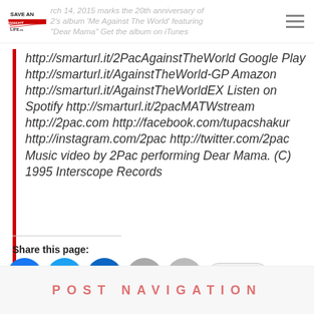March 14, 2015 marks the 20th anniversary of 2Pac's album 'Me Against The World' featuring "Dear Mama" Get the album on iTunes
http://smarturl.it/2PacAgainstTheWorld Google Play http://smarturl.it/AgainstTheWorld-GP Amazon http://smarturl.it/AgainstTheWorldEX Listen on Spotify http://smarturl.it/2pacMATWstream http://2pac.com http://facebook.com/tupacshakur http://instagram.com/2pac http://twitter.com/2pac Music video by 2Pac performing Dear Mama. (C) 1995 Interscope Records
Share this page:
[Figure (infographic): Social share buttons: Facebook, Twitter, LinkedIn, Email, Print, More]
Post navigation